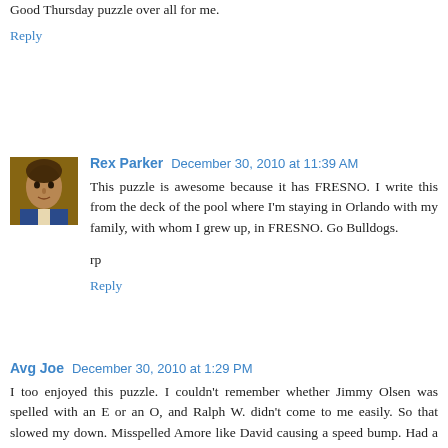Good Thursday puzzle over all for me.
Reply
Rex Parker  December 30, 2010 at 11:39 AM
This puzzle is awesome because it has FRESNO. I write this from the deck of the pool where I'm staying in Orlando with my family, with whom I grew up, in FRESNO. Go Bulldogs.

rp
Reply
Avg Joe  December 30, 2010 at 1:29 PM
I too enjoyed this puzzle. I couldn't remember whether Jimmy Olsen was spelled with an E or an O, and Ralph W. didn't come to me easily. So that slowed my down. Misspelled Amore like David causing a speed bump. Had a really hard time accepting Narz, but felt certain enough of the crosses I called it done. Got Arco entirely via crosses as